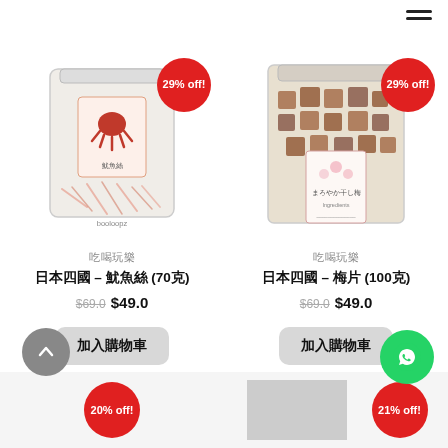[Figure (screenshot): Hamburger menu icon (two horizontal bars) at top right]
[Figure (photo): Product photo: bag of shredded squid snack (魷魚絲) with red octopus label, pink strands visible, booloopz watermark]
[Figure (photo): Product photo: bag of dried plum pieces (梅片) with Japanese floral label, brown cube-shaped pieces]
吃喝玩樂
吃喝玩樂
日本四國 – 魷魚絲 (70克)
日本四國 – 梅片 (100克)
$69.0  $49.0
$69.0  $49.0
加入購物車
加入購物車
29% off!
29% off!
20% off!
21% off!